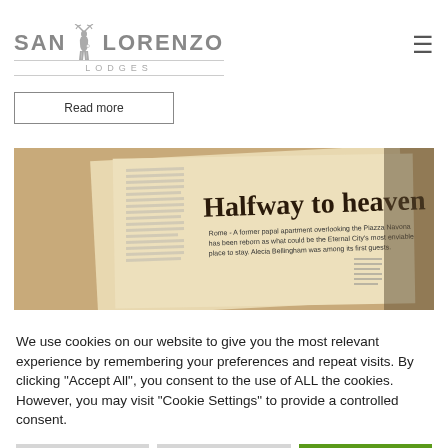[Figure (logo): San Lorenzo Lodges logo with deer silhouette]
Read more
[Figure (photo): Newspaper clipping with headline 'Halfway to heaven']
We use cookies on our website to give you the most relevant experience by remembering your preferences and repeat visits. By clicking "Accept All", you consent to the use of ALL the cookies. However, you may visit "Cookie Settings" to provide a controlled consent.
Privacy & Cookie Policy
Cookie Settings
Accept All